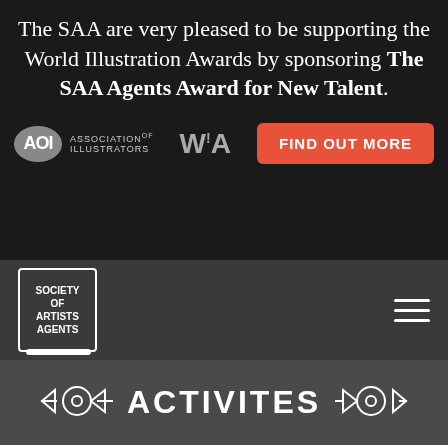The SAA are very pleased to be supporting the World Illustration Awards by sponsoring The SAA Agents Award for New Talent.
[Figure (logo): AOI Association of Illustrators logo — grey oval with AOI text, beside text ASSOCIATION of ILLUSTRATORS]
[Figure (logo): WIA World Illustration Awards logo — stylized W!A text in grey]
[Figure (other): Orange/red button reading FIND OUT MORE]
[Figure (logo): Society of Artists Agents logo — white bordered box with text SOCIETY OF ARTISTS AGENTS]
[Figure (other): Hamburger menu icon — three white horizontal lines]
ACTIVITES
[Figure (illustration): Decorative pen nib arrow icon pointing right on left side]
[Figure (illustration): Decorative pen nib arrow icon pointing left on right side]